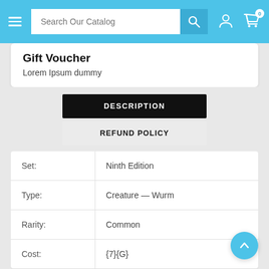Search Our Catalog
Gift Voucher
Lorem Ipsum dummy
DESCRIPTION
REFUND POLICY
|  |  |
| --- | --- |
| Set: | Ninth Edition |
| Type: | Creature — Wurm |
| Rarity: | Common |
| Cost: | {7}{G} |